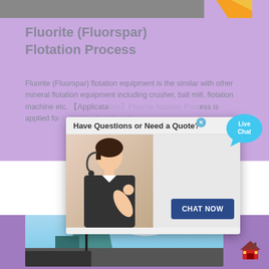[Figure (photo): Top banner image strip showing industrial/mining equipment with yellow/orange shape at top right]
Fluorite (Fluorspar) Flotation Process
Fluorite (Fluorspar) flotation equipment is the similar with other mineral flotation equipment including crusher, ball mill, flotation machine etc. 【Application】Fluorite flotation Process is applied for refractory fluorite with
[Figure (screenshot): Popup chat window overlay with header 'Have Questions or Need a Quote?', image of customer service representative with headset, and a 'CHAT NOW' button. Live Chat bubble visible at right side.]
[Figure (photo): Bottom section with a photograph of industrial building/equipment against blue sky]
[Figure (illustration): Home/house icon at bottom right corner in red and dark colors]